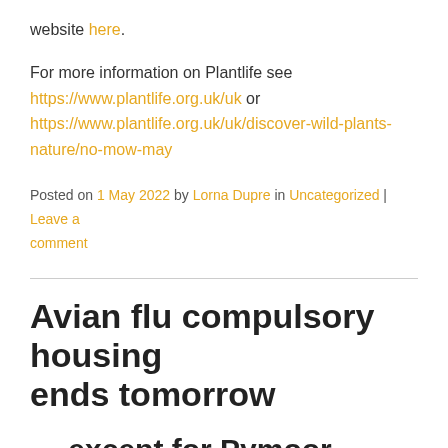website here.
For more information on Plantlife see https://www.plantlife.org.uk/uk or https://www.plantlife.org.uk/uk/discover-wild-plants-nature/no-mow-may
Posted on 1 May 2022 by Lorna Dupre in Uncategorized | Leave a comment
Avian flu compulsory housing ends tomorrow
... except for Pymoor, Little Downham, and Way Head